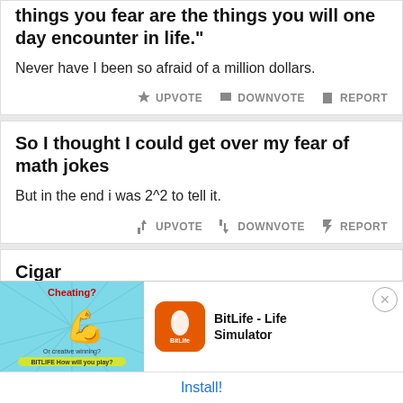things you fear are the things you will one day encounter in life."
Never have I been so afraid of a million dollars.
So I thought I could get over my fear of math jokes
But in the end i was 2^2 to tell it.
Cigar
A young lawyer was defending a wealthy businessman in a complicated lawsuit. Unfortunately, the evidence was against his client and it looked like he might lose the case. The senior partner of the law firm approached the lawyer with a box of expensive cigars and told him to give them to the judge. The lawyer...
[Figure (screenshot): Ad banner for BitLife - Life Simulator app with an animated muscle/arm graphic and 'Cheating? Or creative winning?' text. Install button at bottom.]